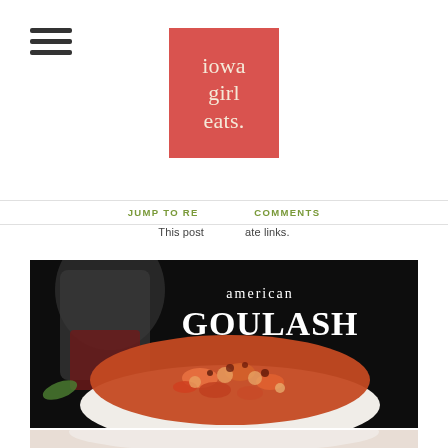[Figure (logo): Iowa Girl Eats logo — salmon/red square with serif text reading 'iowa girl eats.']
JUMP TO RECIPE   COMMENTS
This post contains affiliate links.
[Figure (photo): American Goulash dish photo — bowl of macaroni and meat sauce with text 'american GOULASH' on dark background, glass of red wine visible on left.]
[Figure (photo): Partial bottom image — close-up continuation of food photo, lighter toned bowl visible.]